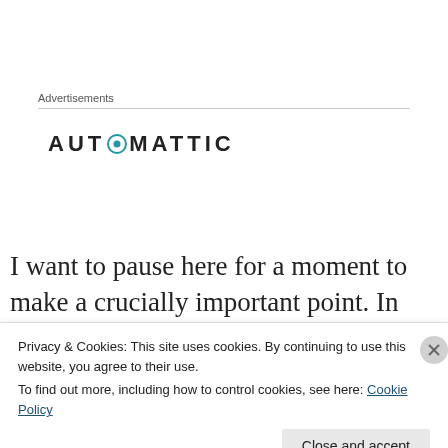Advertisements
[Figure (logo): Automattic company logo with stylized letter O in teal/blue]
I want to pause here for a moment to make a crucially important point. In my example, we did not need actual DNA from your ancestors. Rather, we were able to infer their existence from the patterns that we saw in the DNA
Privacy & Cookies: This site uses cookies. By continuing to use this website, you agree to their use.
To find out more, including how to control cookies, see here: Cookie Policy
Close and accept